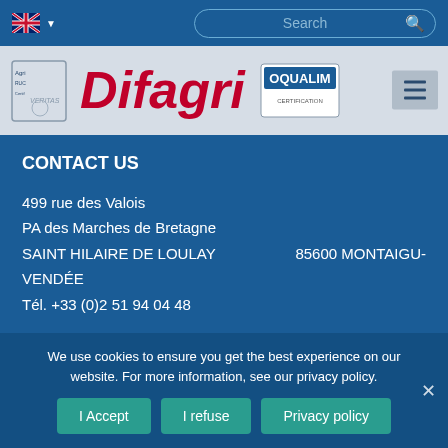Difagri website header with language selector and search bar
[Figure (logo): Difagri company logo with certification badges including OQUALIM]
CONTACT US
499 rue des Valois
PA des Marches de Bretagne
SAINT HILAIRE DE LOULAY    85600 MONTAIGU-VENDÉE
Tél. +33 (0)2 51 94 04 48
We use cookies to ensure you get the best experience on our website. For more information, see our privacy policy.
I Accept | I refuse | Privacy policy